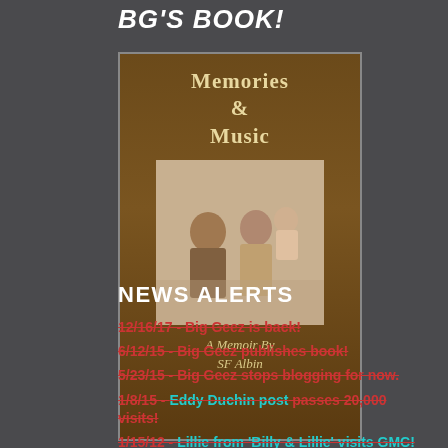BG'S BOOK!
[Figure (illustration): Book cover for 'Memories & Music: A Memoir By SF Albin' featuring a vintage sepia-toned family photo of two adults and a baby on a dark brown background with cream/gold lettering.]
NEWS ALERTS
12/16/17 - Big Geez is back!
6/12/15 - Big Geez publishes book!
5/23/15 - Big Geez stops blogging for now.
1/8/15 - Eddy Duchin post passes 20,000 visits!
1/15/12 - Lillie from 'Billy & Lillie' visits GMC!